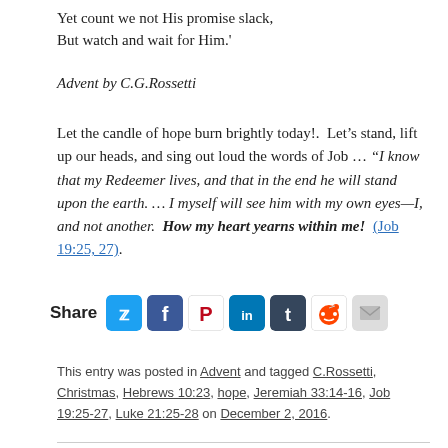Yet count we not His promise slack,
But watch and wait for Him.'
Advent by C.G.Rossetti
Let the candle of hope burn brightly today!.  Let’s stand, lift up our heads, and sing out loud the words of Job … “I know that my Redeemer lives, and that in the end he will stand upon the earth. … I myself will see him with my own eyes—I, and not another.  How my heart yearns within me!  (Job 19:25, 27).
[Figure (infographic): Share buttons for Twitter, Facebook, Pinterest, LinkedIn, Tumblr, Reddit, and Email]
This entry was posted in Advent and tagged C.Rossetti, Christmas, Hebrews 10:23, hope, Jeremiah 33:14-16, Job 19:25-27, Luke 21:25-28 on December 2, 2016.